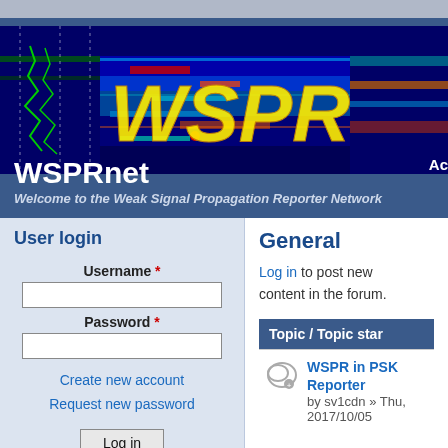[Figure (screenshot): WSPRnet website header with spectrogram waterfall display showing radio frequency data in blues, greens, reds with yellow WSPR text overlay]
WSPRnet
Welcome to the Weak Signal Propagation Reporter Network
User login
Username *
Password *
Create new account
Request new password
Log in
General
Log in to post new content in the forum.
Topic / Topic star
WSPR in PSK Reporter
by sv1cdn » Thu, 2017/10/05